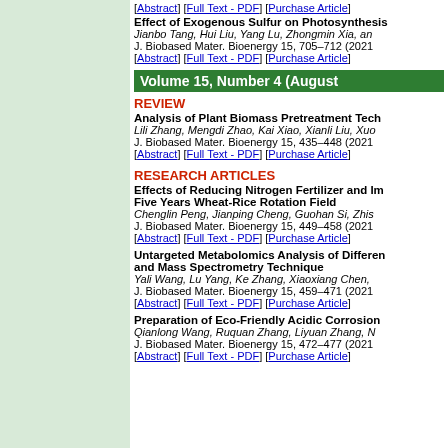[Abstract] [Full Text - PDF] [Purchase Article]
Effect of Exogenous Sulfur on Photosynthesis
Jianbo Tang, Hui Liu, Yang Lu, Zhongmin Xia, an
J. Biobased Mater. Bioenergy 15, 705–712 (2021)
[Abstract] [Full Text - PDF] [Purchase Article]
Volume 15, Number 4 (August
REVIEW
Analysis of Plant Biomass Pretreatment Tech
Lili Zhang, Mengdi Zhao, Kai Xiao, Xianli Liu, Xuo
J. Biobased Mater. Bioenergy 15, 435–448 (2021)
[Abstract] [Full Text - PDF] [Purchase Article]
RESEARCH ARTICLES
Effects of Reducing Nitrogen Fertilizer and Im
Five Years Wheat-Rice Rotation Field
Chenglin Peng, Jianping Cheng, Guohan Si, Zhis
J. Biobased Mater. Bioenergy 15, 449–458 (2021)
[Abstract] [Full Text - PDF] [Purchase Article]
Untargeted Metabolomics Analysis of Differen
and Mass Spectrometry Technique
Yali Wang, Lu Yang, Ke Zhang, Xiaoxiang Chen,
J. Biobased Mater. Bioenergy 15, 459–471 (2021)
[Abstract] [Full Text - PDF] [Purchase Article]
Preparation of Eco-Friendly Acidic Corrosion
Qianlong Wang, Ruquan Zhang, Liyuan Zhang, N
J. Biobased Mater. Bioenergy 15, 472–477 (2021
[Abstract] [Full Text - PDF] [Purchase Article]